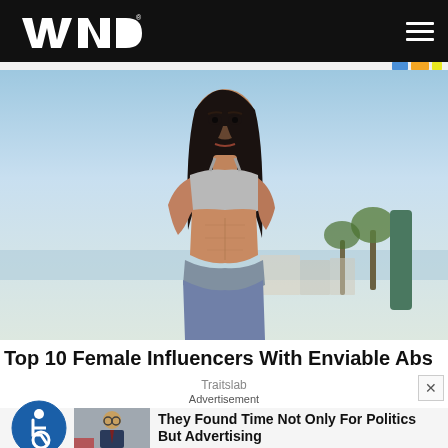WND
[Figure (photo): Fitness woman with dark hair wearing a grey sports bra and grey sweatpants, showing toned abs, photographed outdoors near a marina with palm trees and blue sky in background.]
Top 10 Female Influencers With Enviable Abs
Traitslab
Advertisement
They Found Time Not Only For Politics But Advertising